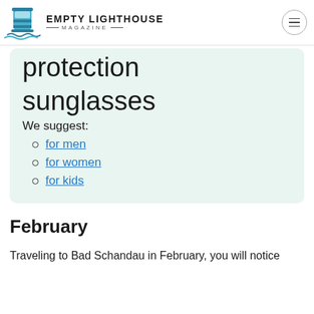EMPTY LIGHTHOUSE MAGAZINE
protection sunglasses
We suggest:
for men
for women
for kids
February
Traveling to Bad Schandau in February, you will notice